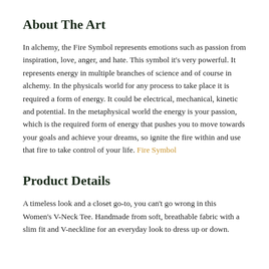About The Art
In alchemy, the Fire Symbol represents emotions such as passion from inspiration, love, anger, and hate. This symbol it's very powerful. It represents energy in multiple branches of science and of course in alchemy. In the physicals world for any process to take place it is required a form of energy. It could be electrical, mechanical, kinetic and potential. In the metaphysical world the energy is your passion, which is the required form of energy that pushes you to move towards your goals and achieve your dreams, so ignite the fire within and use that fire to take control of your life. Fire Symbol
Product Details
A timeless look and a closet go-to, you can't go wrong in this Women's V-Neck Tee. Handmade from soft, breathable fabric with a slim fit and V-neckline for an everyday look to dress up or down.